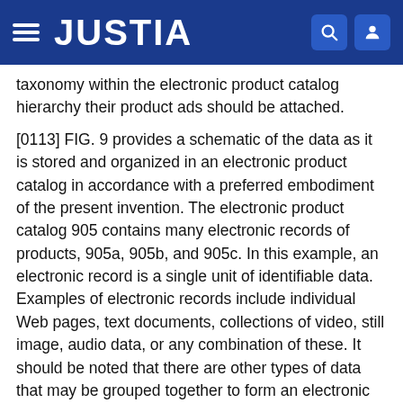JUSTIA
taxonomy within the electronic product catalog hierarchy their product ads should be attached.
[0113] FIG. 9 provides a schematic of the data as it is stored and organized in an electronic product catalog in accordance with a preferred embodiment of the present invention. The electronic product catalog 905 contains many electronic records of products, 905a, 905b, and 905c. In this example, an electronic record is a single unit of identifiable data. Examples of electronic records include individual Web pages, text documents, collections of video, still image, audio data, or any combination of these. It should be noted that there are other types of data that may be grouped together to form an electronic record.
[0114] Three exemplary electronic records are shown in FIG. 9. Each of electronic records 905a, 905b and 905c is